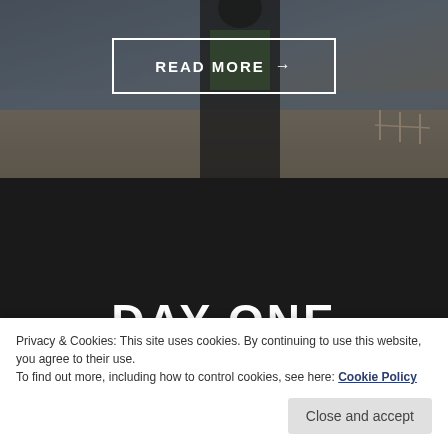[Figure (photo): Background photo of a person standing on a beach in dark athletic/wetsuit gear, with ocean and sand visible, overlaid with a dark tint]
READ MORE →
DAY ONE
Nerves got the better of me but I wish they hadn't
Privacy & Cookies: This site uses cookies. By continuing to use this website, you agree to their use.
To find out more, including how to control cookies, see here: Cookie Policy
Close and accept